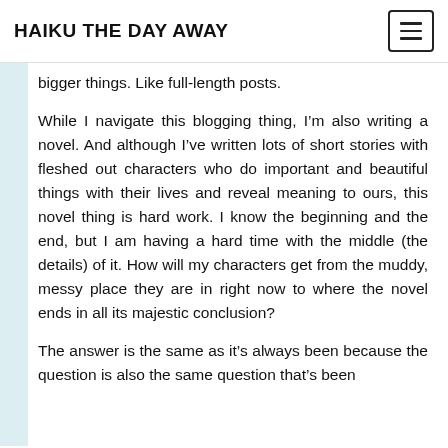HAIKU THE DAY AWAY
bigger things. Like full-length posts.
While I navigate this blogging thing, I’m also writing a novel. And although I’ve written lots of short stories with fleshed out characters who do important and beautiful things with their lives and reveal meaning to ours, this novel thing is hard work. I know the beginning and the end, but I am having a hard time with the middle (the details) of it. How will my characters get from the muddy, messy place they are in right now to where the novel ends in all its majestic conclusion?
The answer is the same as it’s always been because the question is also the same question that’s been